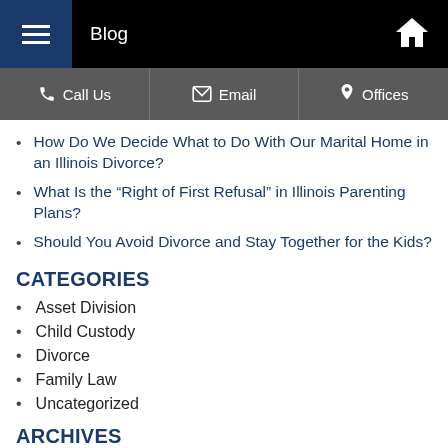Blog
Call Us | Email | Offices
How Do We Decide What to Do With Our Marital Home in an Illinois Divorce?
What Is the “Right of First Refusal” in Illinois Parenting Plans?
Should You Avoid Divorce and Stay Together for the Kids?
CATEGORIES
Asset Division
Child Custody
Divorce
Family Law
Uncategorized
ARCHIVES